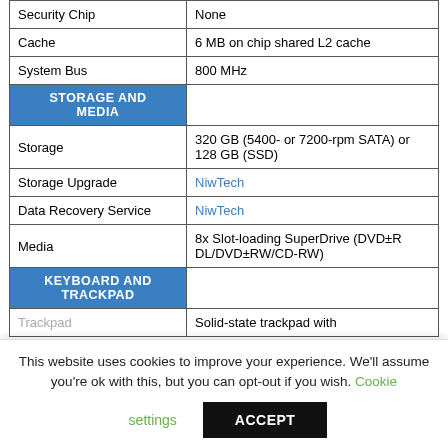| Feature | Detail |
| --- | --- |
| Security Chip | None |
| Cache | 6 MB on chip shared L2 cache |
| System Bus | 800 MHz |
| STORAGE AND MEDIA |  |
| Storage | 320 GB (5400- or 7200-rpm SATA) or 128 GB (SSD) |
| Storage Upgrade | NiwTech |
| Data Recovery Service | NiwTech |
| Media | 8x Slot-loading SuperDrive (DVD±R DL/DVD±RW/CD-RW) |
| KEYBOARD AND TRACKPAD |  |
| Trackpad | Solid-state trackpad with |
This website uses cookies to improve your experience. We'll assume you're ok with this, but you can opt-out if you wish. Cookie settings ACCEPT